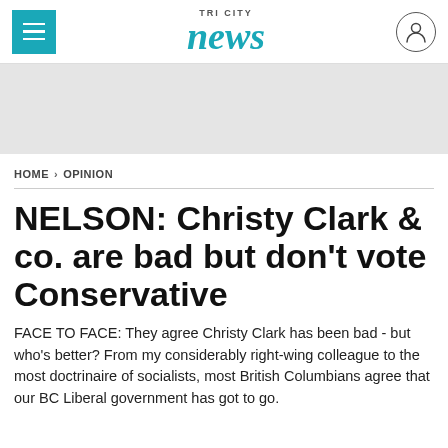TRI CITY news
[Figure (other): Gray advertisement banner placeholder]
HOME > OPINION
NELSON: Christy Clark & co. are bad but don't vote Conservative
FACE TO FACE: They agree Christy Clark has been bad - but who's better? From my considerably right-wing colleague to the most doctrinaire of socialists, most British Columbians agree that our BC Liberal government has got to go.